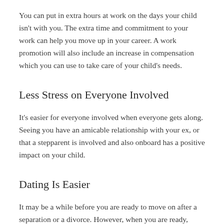You can put in extra hours at work on the days your child isn't with you. The extra time and commitment to your work can help you move up in your career. A work promotion will also include an increase in compensation which you can use to take care of your child's needs.
Less Stress on Everyone Involved
It's easier for everyone involved when everyone gets along. Seeing you have an amicable relationship with your ex, or that a stepparent is involved and also onboard has a positive impact on your child.
Dating Is Easier
It may be a while before you are ready to move on after a separation or a divorce. However, when you are ready,